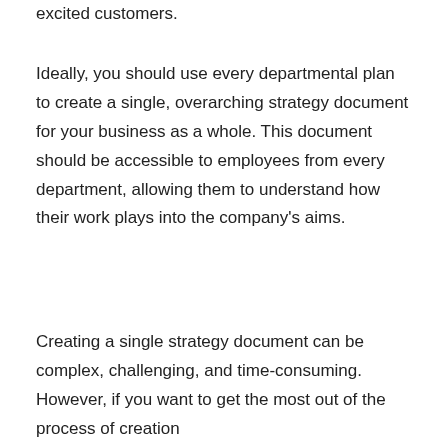excited customers.
Ideally, you should use every departmental plan to create a single, overarching strategy document for your business as a whole. This document should be accessible to employees from every department, allowing them to understand how their work plays into the company’s aims.
Creating a single strategy document can be complex, challenging, and time-consuming. However, if you want to get the most out of the process of creating...